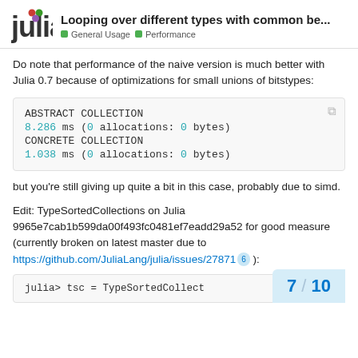Looping over different types with common be... | General Usage | Performance
Do note that performance of the naive version is much better with Julia 0.7 because of optimizations for small unions of bitstypes:
[Figure (screenshot): Code block showing ABSTRACT COLLECTION 8.286 ms (0 allocations: 0 bytes) CONCRETE COLLECTION 1.038 ms (0 allocations: 0 bytes)]
but you're still giving up quite a bit in this case, probably due to simd.
Edit: TypeSortedCollections on Julia 9965e7cab1b599da00f493fc0481ef7eadd29a52 for good measure (currently broken on latest master due to https://github.com/JuliaLang/julia/issues/27871 6 ):
[Figure (screenshot): Code block showing: julia> tsc = TypeSortedCollect]
7 / 10